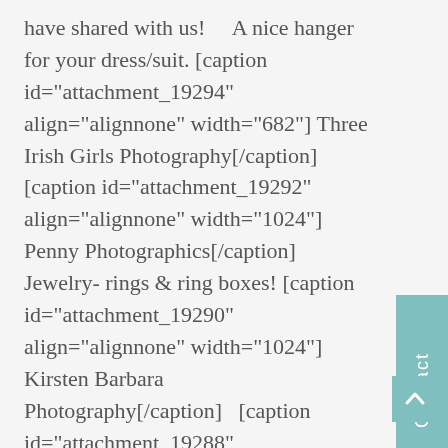have shared with us!    A nice hanger for your dress/suit. [caption id="attachment_19294" align="alignnone" width="682"] Three Irish Girls Photography[/caption] [caption id="attachment_19292" align="alignnone" width="1024"] Penny Photographics[/caption] Jewelry- rings & ring boxes! [caption id="attachment_19290" align="alignnone" width="1024"] Kirsten Barbara Photography[/caption]   [caption id="attachment_19288" align="alignnone" width="600"] Josh Manley Photography[/caption] [caption id="attachment_19287" align="alignnone" width="684"] ©